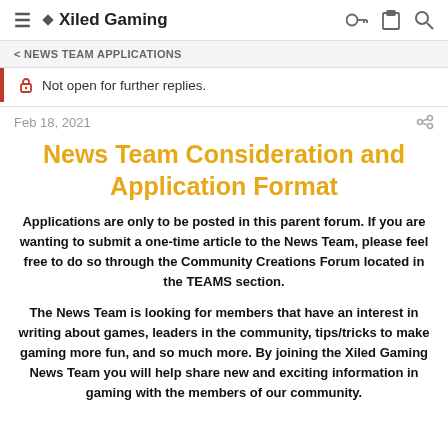≡ ◆Xiled Gaming
< NEWS TEAM APPLICATIONS
🔒 Not open for further replies.
Feb 18, 2021
News Team Consideration and Application Format
Applications are only to be posted in this parent forum. If you are wanting to submit a one-time article to the News Team, please feel free to do so through the Community Creations Forum located in the TEAMS section.
The News Team is looking for members that have an interest in writing about games, leaders in the community, tips/tricks to make gaming more fun, and so much more. By joining the Xiled Gaming News Team you will help share new and exciting information in gaming with the members of our community.